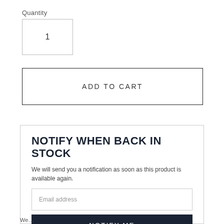Quantity
1
ADD TO CART
NOTIFY WHEN BACK IN STOCK
We will send you a notification as soon as this product is available again.
Email address
NOTIFY ME
We...